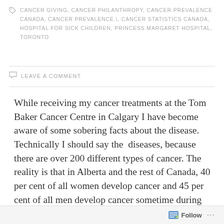CANCER GIVING, CANCER PHILANTHROPY, CANCER PREVALENCE CANADA, CANCER PREVALENCE.\, CANCER STATISTICS CANADA, HOSPITAL FOR SICK CHILDREN, PRINCESS MARGARET HOSPITAL, TORONTO
LEAVE A COMMENT
While receiving my cancer treatments at the Tom Baker Cancer Centre in Calgary I have become aware of some sobering facts about the disease. Technically I should say the  diseases, because there are over 200 different types of cancer. The reality is that in Alberta and the rest of Canada, 40 per cent of all women develop cancer and 45 per cent of all men develop cancer sometime during their lives, so nearly every family is affected. According to statistics by the
Follow ···